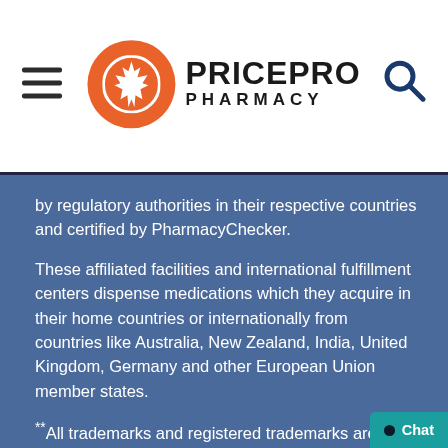PricePro Pharmacy
by regulatory authorities in their respective countries and certified by PharmacyChecker.
These affiliated facilities and international fulfillment centers dispense medications which they acquire in their home countries or internationally from countries like Australia, New Zealand, India, United Kingdom, Germany and other European Union member states.
**All trademarks and registered trademarks are the property of their respective owners.